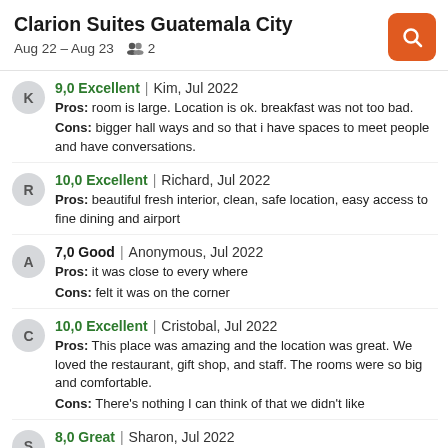Clarion Suites Guatemala City
Aug 22 – Aug 23   👥 2
9,0 Excellent | Kim, Jul 2022
Pros: room is large. Location is ok. breakfast was not too bad.
Cons: bigger hall ways and so that i have spaces to meet people and have conversations.
10,0 Excellent | Richard, Jul 2022
Pros: beautiful fresh interior, clean, safe location, easy access to fine dining and airport
7,0 Good | Anonymous, Jul 2022
Pros: it was close to every where
Cons: felt it was on the corner
10,0 Excellent | Cristobal, Jul 2022
Pros: This place was amazing and the location was great. We loved the restaurant, gift shop, and staff. The rooms were so big and comfortable.
Cons: There's nothing I can think of that we didn't like
8,0 Great | Sharon, Jul 2022